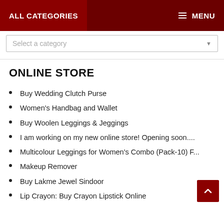ALL CATEGORIES   MENU
Select a category
ONLINE STORE
Buy Wedding Clutch Purse
Women's Handbag and Wallet
Buy Woolen Leggings & Jeggings
I am working on my new online store! Opening soon....
Multicolour Leggings for Women's Combo (Pack-10) F...
Makeup Remover
Buy Lakme Jewel Sindoor
Lip Crayon: Buy Crayon Lipstick Online